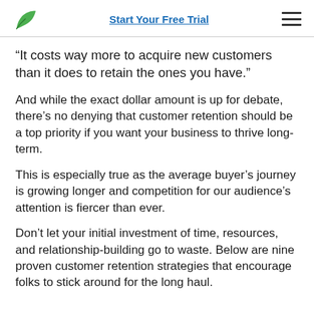Start Your Free Trial
“It costs way more to acquire new customers than it does to retain the ones you have.”
And while the exact dollar amount is up for debate, there’s no denying that customer retention should be a top priority if you want your business to thrive long-term.
This is especially true as the average buyer’s journey is growing longer and competition for our audience’s attention is fiercer than ever.
Don’t let your initial investment of time, resources, and relationship-building go to waste. Below are nine proven customer retention strategies that encourage folks to stick around for the long haul.